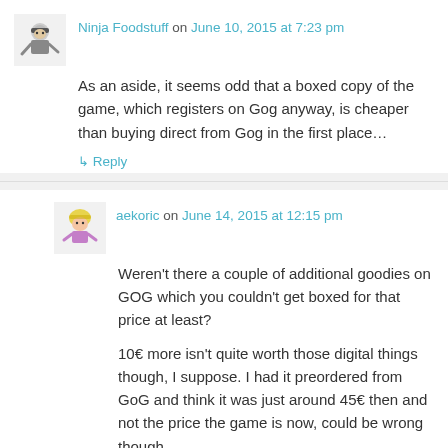Ninja Foodstuff on June 10, 2015 at 7:23 pm
As an aside, it seems odd that a boxed copy of the game, which registers on Gog anyway, is cheaper than buying direct from Gog in the first place…
↳ Reply
aekoric on June 14, 2015 at 12:15 pm
Weren't there a couple of additional goodies on GOG which you couldn't get boxed for that price at least?
10€ more isn't quite worth those digital things though, I suppose. I had it preordered from GoG and think it was just around 45€ then and not the price the game is now, could be wrong though.
↳ Reply